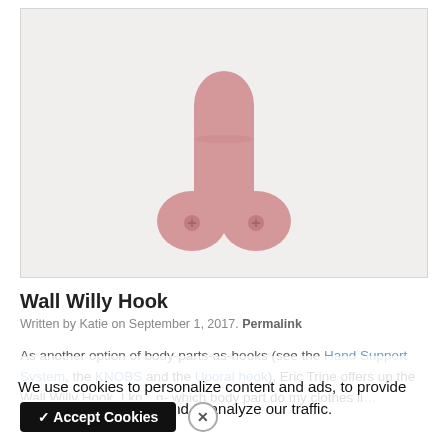[Figure (illustration): A pink wall hook shaped like a stylized male anatomy (willy/penis shape), with two round bases with screw heads at the bottom on a light grey background.]
Wall Willy Hook
Written by Katie on September 1, 2017. Permalink
We use cookies to personalize content and ads, to provide social media features and to analyze our traffic.
As another option of body-parts-as-hooks (see the Hand Support System, the KNOBS and the Uporal hook), Eric Trine offers up the Wall Willy Hook. I kn… which body part do my clothes li…